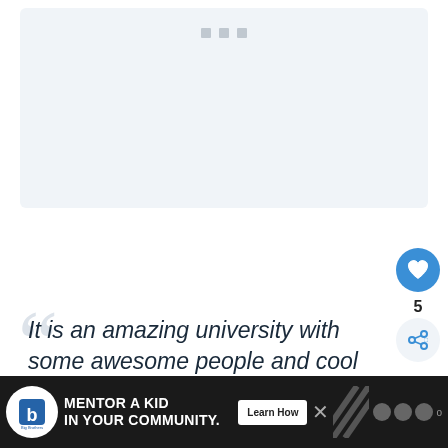[Figure (other): Gray placeholder card area with three small squares at top]
It is an amazing university with some awesome people and cool programs. Only
[Figure (other): Advertisement banner: Big Brothers Big Sisters - Mentor a Kid in Your Community. Learn How button.]